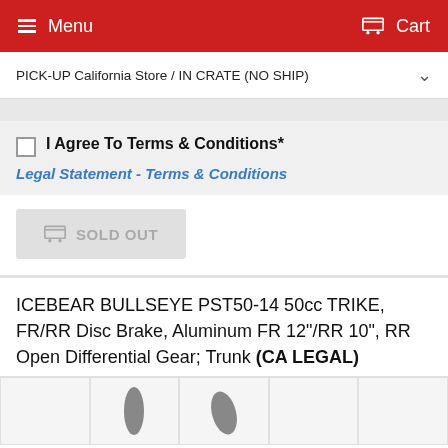Menu  Cart
PICK-UP California Store / IN CRATE (NO SHIP)
I Agree To Terms & Conditions*
Legal Statement - Terms & Conditions
SOLD OUT
ICEBEAR BULLSEYE PST50-14 50cc TRIKE, FR/RR Disc Brake, Aluminum FR 12"/RR 10", RR Open Differential Gear; Trunk (CA LEGAL)
[Figure (photo): Product thumbnail images of the trike, partially visible at bottom of page]